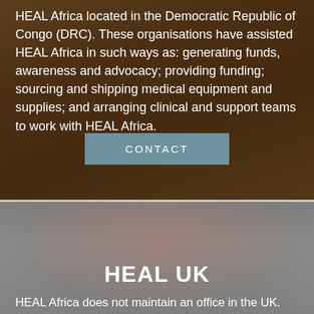HEAL Africa located in the Democratic Republic of Congo (DRC). These organisations have assisted HEAL Africa in such ways as: generating funds, awareness and advocacy; providing funding; sourcing and shipping medical equipment and supplies; and arranging clinical and support teams to work with HEAL Africa.
CONTACT
[Figure (photo): Background photo of a person in a field, with dark reddish-brown overlay, top section]
[Figure (photo): Background photo of a person wearing a colorful head wrap, with grey overlay, bottom section]
HEAL UK
HEAL Africa does not maintain an office in the UK.